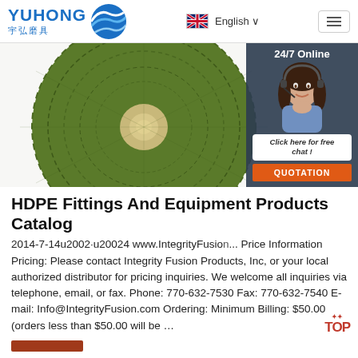YUHONG 宇弘磨具 | English
[Figure (photo): Circular green abrasive grinding disc on white background, with a customer service chat widget overlay on the right showing a woman with a headset, '24/7 Online' text, 'Click here for free chat!' bubble, and QUOTATION button]
HDPE Fittings And Equipment Products Catalog
2014-7-14u2002·u20024 www.IntegrityFusion... Price Information Pricing: Please contact Integrity Fusion Products, Inc, or your local authorized distributor for pricing inquiries. We welcome all inquiries via telephone, email, or fax. Phone: 770-632-7530 Fax: 770-632-7540 E-mail: Info@IntegrityFusion.com Ordering: Minimum Billing: $50.00 (orders less than $50.00 will be …